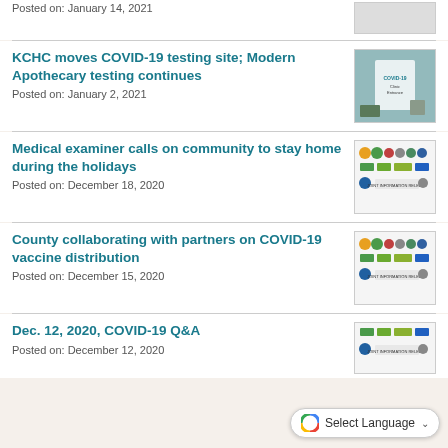Posted on: January 14, 2021
KCHC moves COVID-19 testing site; Modern Apothecary testing continues
Posted on: January 2, 2021
Medical examiner calls on community to stay home during the holidays
Posted on: December 18, 2020
County collaborating with partners on COVID-19 vaccine distribution
Posted on: December 15, 2020
Dec. 12, 2020, COVID-19 Q&A
Posted on: December 12, 2020